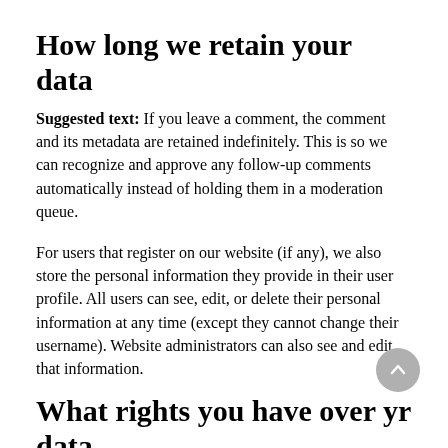How long we retain your data
Suggested text: If you leave a comment, the comment and its metadata are retained indefinitely. This is so we can recognize and approve any follow-up comments automatically instead of holding them in a moderation queue.
For users that register on our website (if any), we also store the personal information they provide in their user profile. All users can see, edit, or delete their personal information at any time (except they cannot change their username). Website administrators can also see and edit that information.
What rights you have over your data